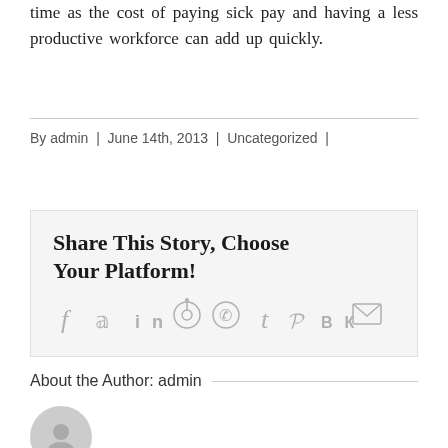time as the cost of paying sick pay and having a less productive workforce can add up quickly.
By admin | June 14th, 2013 | Uncategorized |
Share This Story, Choose Your Platform!
[Figure (infographic): Social media sharing icons: Facebook, Twitter, LinkedIn, Reddit, WhatsApp, Tumblr, Pinterest, VK, Email]
About the Author: admin
[Figure (photo): Generic grey avatar/profile image circle with user silhouette icon]